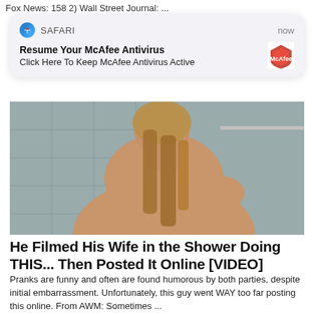Fox News: 158 2) Wall Street Journal: ...
[Figure (screenshot): Safari browser push notification card: 'Resume Your McAfee Antivirus / Click Here To Keep McAfee Antivirus Active' with McAfee logo, timestamp 'now']
[Figure (photo): Photo of a woman from behind in a shower/bathroom setting with wet hair]
He Filmed His Wife in the Shower Doing THIS... Then Posted It Online [VIDEO]
Pranks are funny and often are found humorous by both parties, despite initial embarrassment. Unfortunately, this guy went WAY too far posting this online. From AWM: Sometimes ...